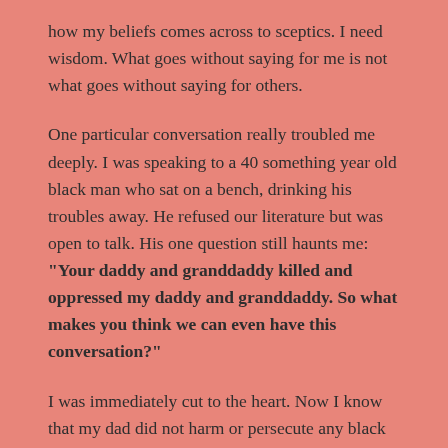how my beliefs comes across to sceptics. I need wisdom. What goes without saying for me is not what goes without saying for others.
One particular conversation really troubled me deeply. I was speaking to a 40 something year old black man who sat on a bench, drinking his troubles away. He refused our literature but was open to talk. His one question still haunts me: "Your daddy and granddaddy killed and oppressed my daddy and granddaddy. So what makes you think we can even have this conversation?"
I was immediately cut to the heart. Now I know that my dad did not harm or persecute any black people himself, but I do understand that we were part of a evil and oppressive system. I was cut because through the smell of booze and slurring words – This man had pain, and he was angry.